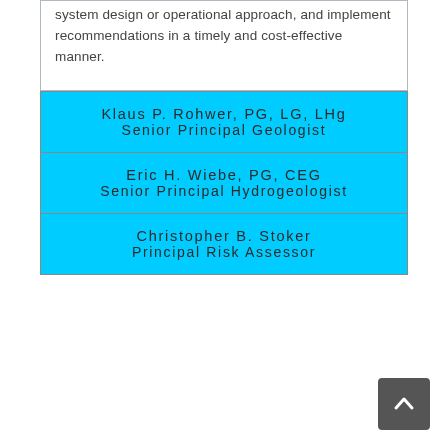system design or operational approach, and implement recommendations in a timely and cost-effective manner.
Klaus P. Rohwer, PG, LG, LHg
Senior Principal Geologist
Eric H. Wiebe, PG, CEG
Senior Principal Hydrogeologist
Christopher B. Stoker
Principal Risk Assessor